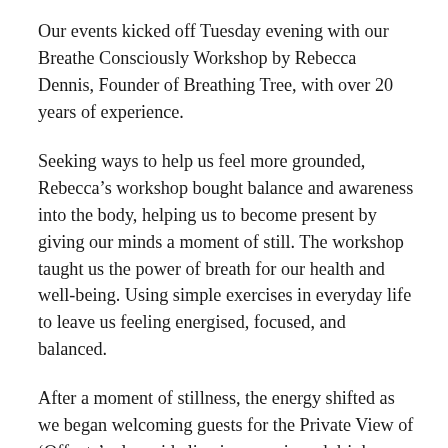Our events kicked off Tuesday evening with our Breathe Consciously Workshop by Rebecca Dennis, Founder of Breathing Tree, with over 20 years of experience.
Seeking ways to help us feel more grounded, Rebecca’s workshop bought balance and awareness into the body, helping us to become present by giving our minds a moment of still. The workshop taught us the power of breath for our health and well-being. Using simple exercises in everyday life to leave us feeling energised, focused, and balanced.
After a moment of stillness, the energy shifted as we began welcoming guests for the Private View of ‘Offcuts’, alongside live jazz music and drinks, as we celebrated the return of CDW After a two-year gap, drinks were flowing, and live Jazz and conversation filled the showroom.